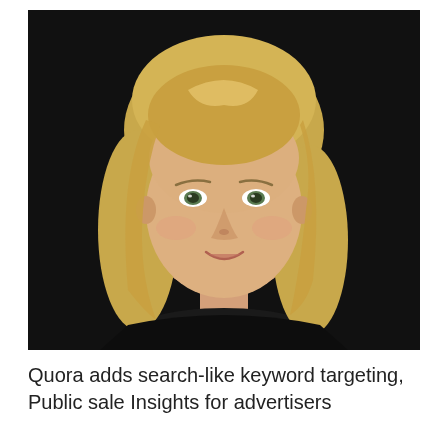[Figure (photo): Professional headshot of a woman with blonde shoulder-length hair, light skin, wearing a black top, photographed against a dark/black background. She is smiling slightly and looking at the camera.]
Quora adds search-like keyword targeting, Public sale Insights for advertisers